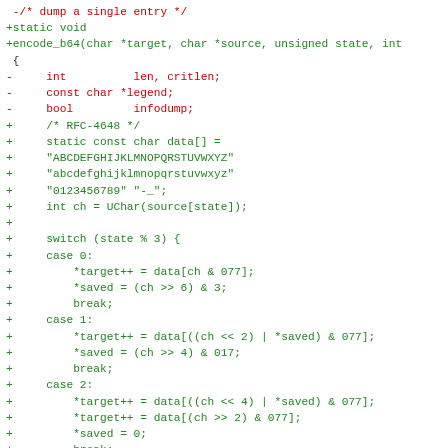[Figure (other): Code diff showing removal of a function and addition of encode_b64 static void function in C, with red lines (deletions) and green lines (additions)]